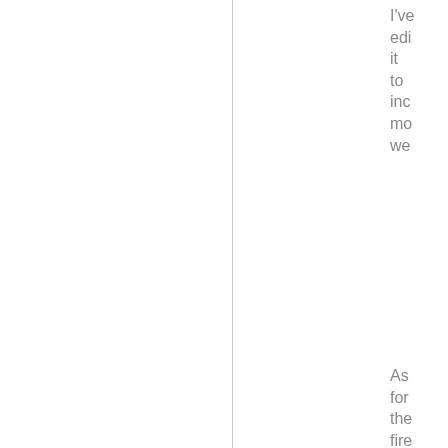I've edited it to include more we
As for the fire training that when I simply included it as "fantasy" as I